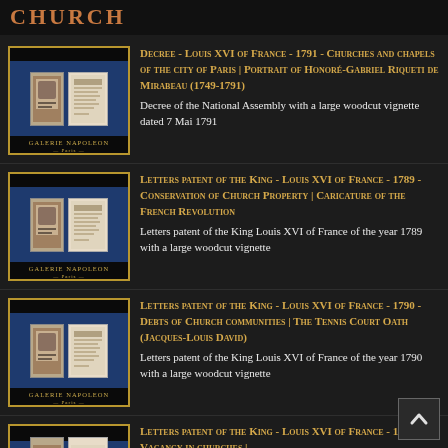CHURCH
Decree - Louis XVI of France - 1791 - Churches and chapels of the city of Paris | Portrait of Honoré-Gabriel Riqueti de Mirabeau (1749-1791) | Decree of the National Assembly with a large woodcut vignette dated 7 Mai 1791
Letters patent of the King - Louis XVI of France - 1789 - Conservation of Church Property | Caricature of the French Revolution | Letters patent of the King Louis XVI of France of the year 1789 with a large woodcut vignette
Letters patent of the King - Louis XVI of France - 1790 - Debts of Church communities | The Tennis Court Oath (Jacques-Louis David) | Letters patent of the King Louis XVI of France of the year 1790 with a large woodcut vignette
Letters patent of the King - Louis XVI of France - 1790 - Vacancy in churches | ...